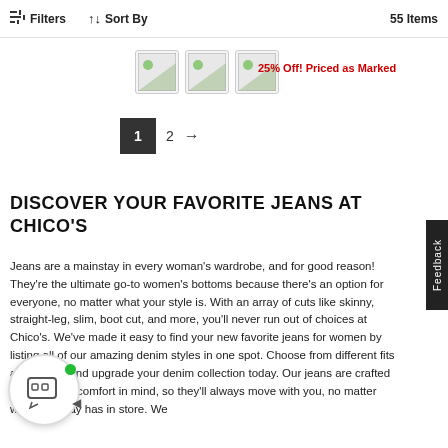Filters   ↑↓ Sort By   55 Items
[Figure (screenshot): Three product thumbnail images in a row]
25% Off! Priced as Marked
1  2  →
DISCOVER YOUR FAVORITE JEANS AT CHICO'S
Jeans are a mainstay in every woman's wardrobe, and for good reason! They're the ultimate go-to women's bottoms because there's an option for everyone, no matter what your style is. With an array of cuts like skinny, straight-leg, slim, boot cut, and more, you'll never run out of choices at Chico's. We've made it easy to find your new favorite jeans for women by listing all of our amazing denim styles in one spot. Choose from different fits and fabrics and upgrade your denim collection today. Our jeans are crafted with ultimate comfort in mind, so they'll always move with you, no matter what your day has in store. We